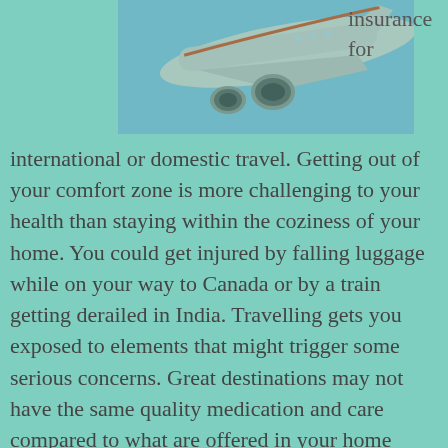[Figure (photo): Photograph of an airplane viewed from below, showing engines and undercarriage against a blue sky, with a teal/green color overlay.]
insurance for
international or domestic travel. Getting out of your comfort zone is more challenging to your health than staying within the coziness of your home. You could get injured by falling luggage while on your way to Canada or by a train getting derailed in India. Travelling gets you exposed to elements that might trigger some serious concerns. Great destinations may not have the same quality medication and care compared to what are offered in your home country. Travel insurance can save you from unexpected medical expense and even repatriation charges should you get involved in emergency medical or accidental